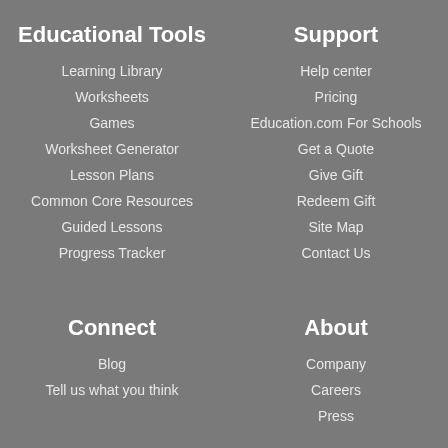Educational Tools
Learning Library
Worksheets
Games
Worksheet Generator
Lesson Plans
Common Core Resources
Guided Lessons
Progress Tracker
Support
Help center
Pricing
Education.com For Schools
Get a Quote
Give Gift
Redeem Gift
Site Map
Contact Us
Connect
Blog
Tell us what you think
About
Company
Careers
Press